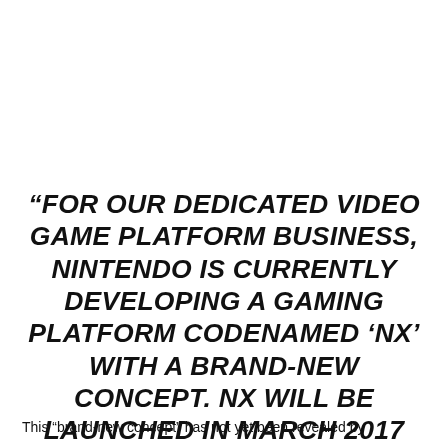“FOR OUR DEDICATED VIDEO GAME PLATFORM BUSINESS, NINTENDO IS CURRENTLY DEVELOPING A GAMING PLATFORM CODENAMED ‘NX’ WITH A BRAND-NEW CONCEPT. NX WILL BE LAUNCHED IN MARCH 2017 GLOBALLY.”
This “brand-new concept” has not yet been revealed by